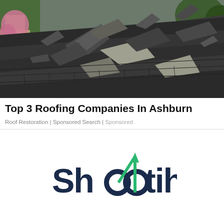[Figure (photo): Damaged roof with lifted and broken dark asphalt shingles, residential home visible with trees and parked cars in background]
Top 3 Roofing Companies In Ashburn
Roof Restoration | Sponsored Search | Sponsored
[Figure (logo): Shootih logo — dark navy bold text with a teal/green upward arrow integrated into the double-o letters]